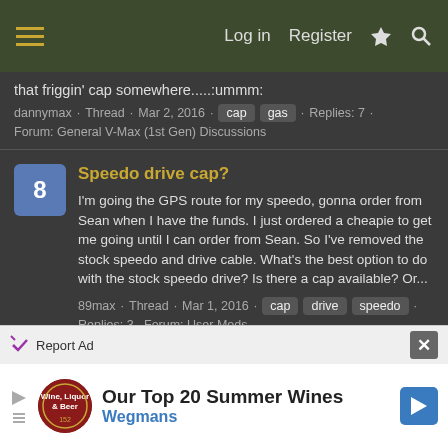Log in  Register
that friggin' cap somewhere.....:ummm:
dannymax · Thread · Mar 2, 2016 · cap  gas · Replies: 7 · Forum: General V-Max (1st Gen) Discussions
Speedo drive cap?
I'm going the GPS route for my speedo, gonna order from Sean when I have the funds. I just ordered a cheapie to get me going until I can order from Sean. So I've removed the stock speedo and drive cable. What's the best option to do with the stock speedo drive? Is there a cap available? Or...
89max · Thread · Mar 1, 2016 · cap  drive  speedo · Replies: 3 · Forum: User Mods
Gen 2 Vmax Billet Cam Cap Covers
$185 Jeff Pahlegy Customs Rick
[Figure (infographic): Advertisement banner: Our Top 20 Summer Wines - Wegmans]